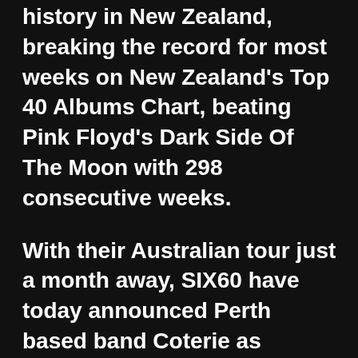history in New Zealand, breaking the record for most weeks on New Zealand's Top 40 Albums Chart, beating Pink Floyd's Dark Side Of The Moon with 298 consecutive weeks.
With their Australian tour just a month away, SIX60 have today announced Perth based band Coterie as special guest across all dates. Coterie have earned a reputation as one of most electrifying live acts on both sides of the Tasman. Riding off the back of their first hit single Cool It Down, brothers Tyler, Joshua, Brandford